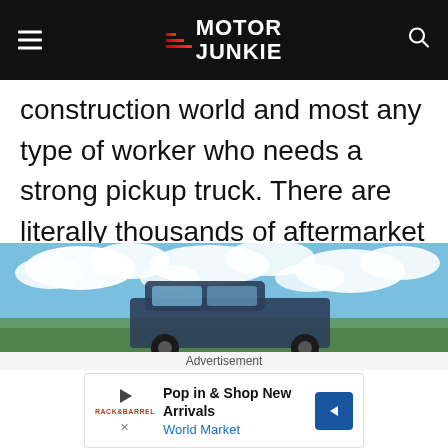Motor Junkie
construction world and most any type of worker who needs a strong pickup truck. There are literally thousands of aftermarket tool boxes and other accessories that you can get for an F-150 pickup.
[Figure (photo): Photo of a pickup truck (F-150) under a partly cloudy blue sky]
Advertisement
Pop in & Shop New Arrivals World Market